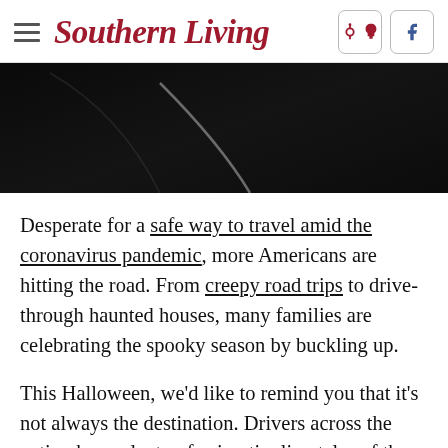Southern Living
[Figure (photo): Dark nighttime road trip photo, mostly black with faint road markings and a curved white line visible]
Desperate for a safe way to travel amid the coronavirus pandemic, more Americans are hitting the road. From creepy road trips to drive-through haunted houses, many families are celebrating the spooky season by buckling up.
This Halloween, we'd like to remind you that it's not always the destination. Drivers across the nation have plenty of spine-tingling tales of the strange and